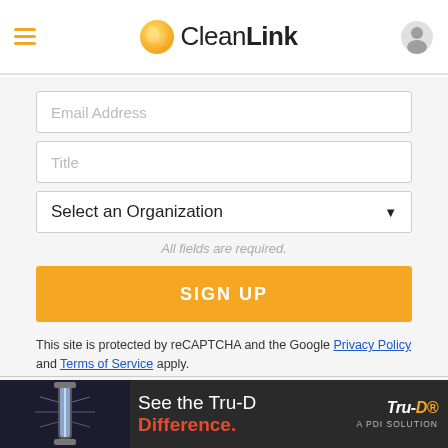CleanLink
Email Address
Title
Select an Organization ▼
All fields are required.
SIGN UP
This site is protected by reCAPTCHA and the Google Privacy Policy and Terms of Service apply.
TOPICS
Business & Industry
Ice Melt
Carpet Care
Infection Control
[Figure (screenshot): Advertisement banner for Tru-D UV disinfection product with text 'See the Tru-D Difference.' and 'A PDI Solution']